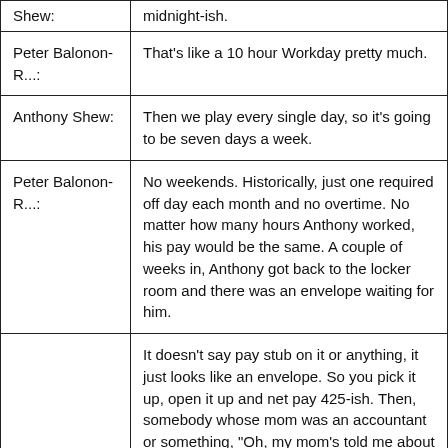| Shew: | midnight-ish. |
| Peter Balonon-R...: | That's like a 10 hour Workday pretty much. |
| Anthony Shew: | Then we play every single day, so it's going to be seven days a week. |
| Peter Balonon-R...: | No weekends. Historically, just one required off day each month and no overtime. No matter how many hours Anthony worked, his pay would be the same. A couple of weeks in, Anthony got back to the locker room and there was an envelope waiting for him. |
|  | It doesn't say pay stub on it or anything, it just looks like an envelope. So you pick it up, open it up and net pay 425-ish. Then, somebody whose mom was an accountant or something, "Oh, my mom's told me about that. Net pay is what you receive and...] |